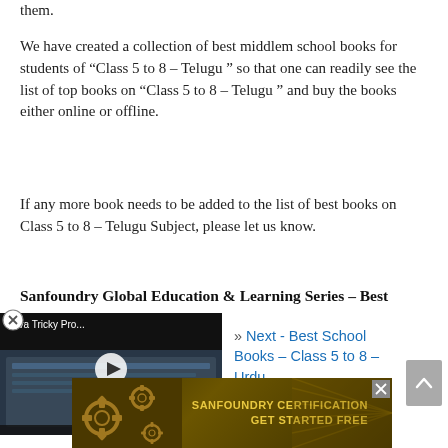them.
We have created a collection of best middlem school books for students of “Class 5 to 8 – Telugu ” so that one can readily see the list of top books on “Class 5 to 8 – Telugu ” and buy the books either online or offline.
If any more book needs to be added to the list of best books on Class 5 to 8 – Telugu Subject, please let us know.
Sanfoundry Global Education & Learning Series – Best School Books!
[Figure (screenshot): Video player with title 'Java Tricky Pro...' and a play button overlay showing a code editor screenshot]
» Next - Best School Books – Class 5 to 8 – Urdu
[Figure (infographic): Sanfoundry Certification advertisement banner with gear icons and text 'SANFOUNDRY CERTIFICATION GET STARTED FREE' on dark gold/brown background]